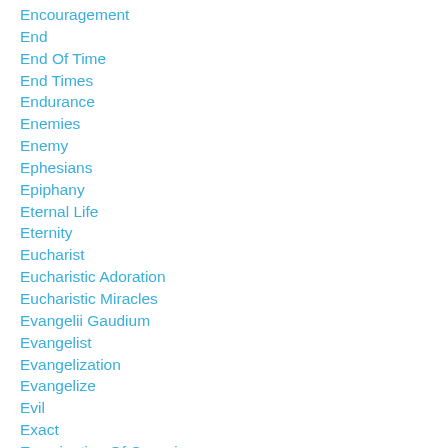Encouragement
End
End Of Time
End Times
Endurance
Enemies
Enemy
Ephesians
Epiphany
Eternal Life
Eternity
Eucharist
Eucharistic Adoration
Eucharistic Miracles
Evangelii Gaudium
Evangelist
Evangelization
Evangelize
Evil
Exact
Examination Of Conscience